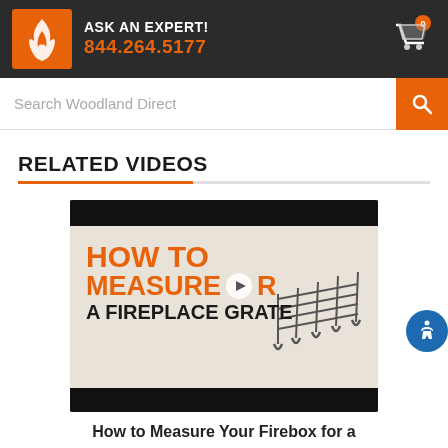ASK AN EXPERT! 844.264.5177
Search Woodland Direct
RELATED VIDEOS
[Figure (screenshot): Video thumbnail for 'How to Measure for a Fireplace Grate' showing orange bold text on a light beige background with a fireplace grate illustration and a play button overlay.]
How to Measure Your Firebox for a